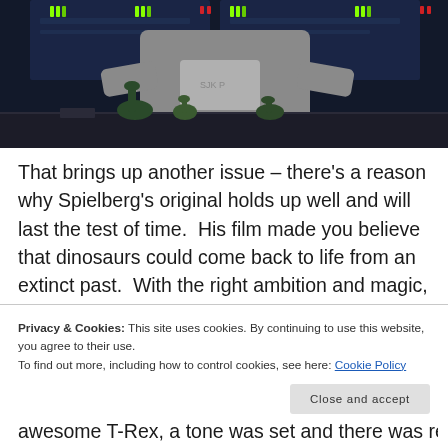[Figure (photo): A person standing behind a table with dinosaur figurines on it, with dark tech-themed screens and LED indicators in the background.]
That brings up another issue – there's a reason why Spielberg's original holds up well and will last the test of time.  His film made you believe that dinosaurs could come back to life from an extinct past.  With the right ambition and magic, anything was possible and wasn't afraid to delve into the science.  But crucially, he also reminded you...
Privacy & Cookies: This site uses cookies. By continuing to use this website, you agree to their use.
To find out more, including how to control cookies, see here: Cookie Policy
awesome T-Rex, a tone was set and there was real and